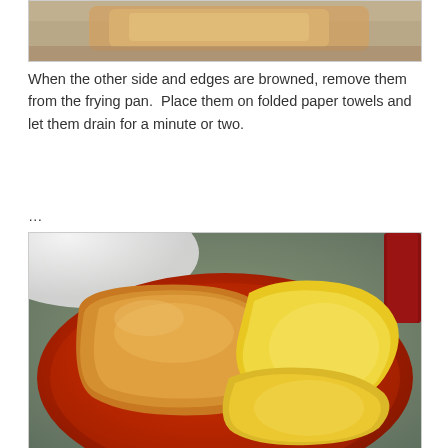[Figure (photo): Partial photo at top showing a browned fried food item on paper towels, cropped to show only the bottom portion.]
When the other side and edges are browned, remove them from the frying pan.  Place them on folded paper towels and let them drain for a minute or two.
…
[Figure (photo): Photo of a red plate with two pieces of fried food — a large rectangular browned breaded piece on the left and folded yellow egg pieces on the right, with a white plate visible in the top left and a dark bottle on the right edge, on a green-gray woven mat background.]